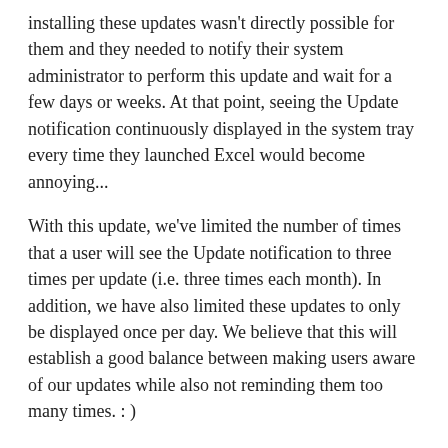installing these updates wasn't directly possible for them and they needed to notify their system administrator to perform this update and wait for a few days or weeks. At that point, seeing the Update notification continuously displayed in the system tray every time they launched Excel would become annoying...
With this update, we've limited the number of times that a user will see the Update notification to three times per update (i.e. three times each month). In addition, we have also limited these updates to only be displayed once per day. We believe that this will establish a good balance between making users aware of our updates while also not reminding them too many times. : )
That's it for this update... We hope that you enjoy these new Power Query features. Please don't hesitate to send us a smile/frown or post something in our forums with any questions or feedback about Power Query that you may have.